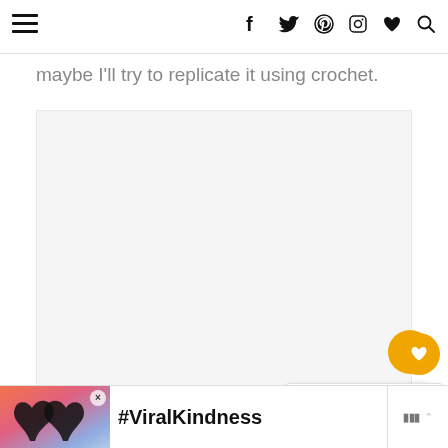☰ navigation with social icons: f (Facebook), Twitter, Pinterest, Instagram, heart, search
maybe I'll try to replicate it using crochet.
[Figure (photo): Empty/placeholder white image area]
[Figure (illustration): Floating orange heart favorite button and white share button on the right side]
[Figure (other): What's Next card showing Anger Amigurumi... with a small crochet character image]
[Figure (photo): Advertisement banner with #ViralKindness text and heart hands silhouette against sunset sky]